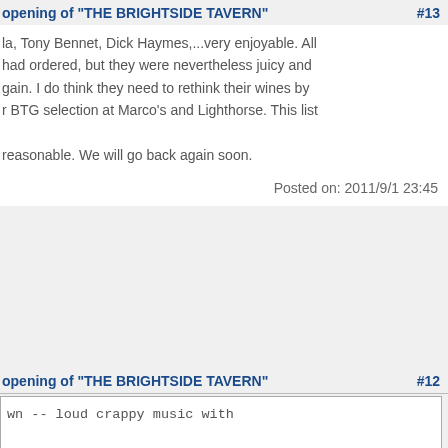opening of "THE BRIGHTSIDE TAVERN" #13
la, Tony Bennet, Dick Haymes,...very enjoyable. All had ordered, but they were nevertheless juicy and gain. I do think they need to rethink their wines by r BTG selection at Marco's and Lighthorse. This list
reasonable. We will go back again soon.
Posted on: 2011/9/1 23:45
opening of "THE BRIGHTSIDE TAVERN" #12
wn -- loud crappy music with